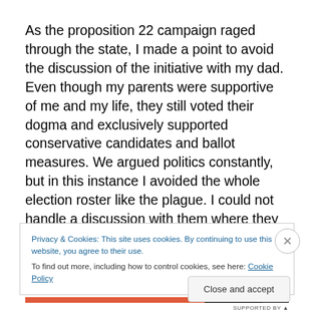As the proposition 22 campaign raged through the state, I made a point to avoid the discussion of the initiative with my dad.  Even though my parents were supportive of me and my life, they still voted their dogma and exclusively supported conservative candidates and ballot measures. We argued politics constantly, but in this instance I avoided the whole election roster like the plague. I could not handle a discussion with them where they explained to
Privacy & Cookies: This site uses cookies. By continuing to use this website, you agree to their use.
To find out more, including how to control cookies, see here: Cookie Policy
Close and accept